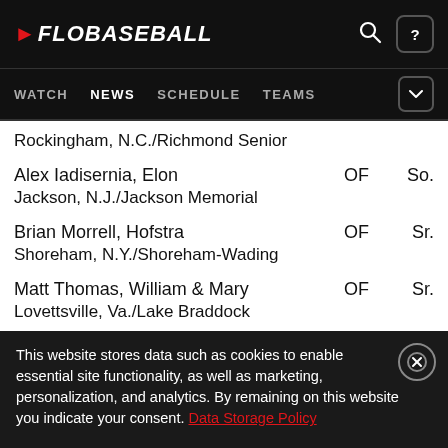FLOBASEBALL — WATCH NEWS SCHEDULE TEAMS
Rockingham, N.C./Richmond Senior
Alex Iadisernia, Elon  OF  So.
Jackson, N.J./Jackson Memorial
Brian Morrell, Hofstra  OF  Sr.
Shoreham, N.Y./Shoreham-Wading
Matt Thomas, William & Mary  OF  Sr.
Lovettsville, Va./Lake Braddock
This website stores data such as cookies to enable essential site functionality, as well as marketing, personalization, and analytics. By remaining on this website you indicate your consent. Data Storage Policy